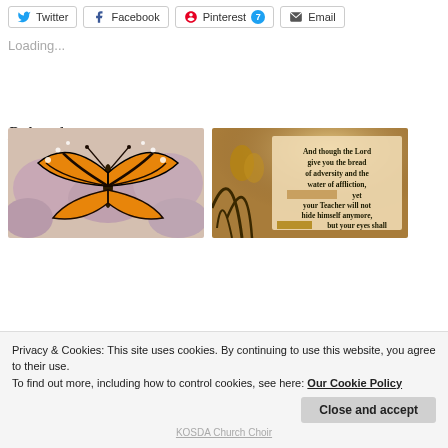[Figure (screenshot): Social share buttons: Twitter, Facebook, Pinterest (with badge 7), Email]
Loading...
Related
[Figure (photo): Monarch butterfly on pink flowers]
[Figure (photo): Scripture quote image: 'And though the Lord give you the bread of adversity and the water of affliction, yet your Teacher will not hide himself anymore, but your eyes shall']
Privacy & Cookies: This site uses cookies. By continuing to use this website, you agree to their use.
To find out more, including how to control cookies, see here: Our Cookie Policy
Close and accept
KOSDA Church Choir